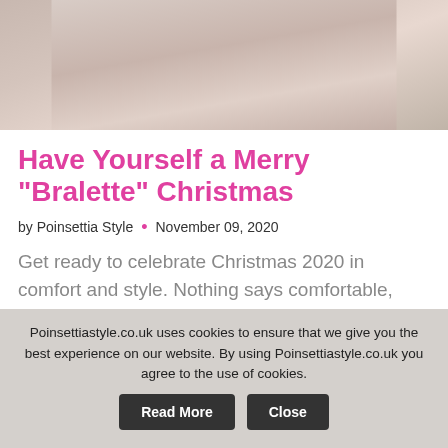[Figure (photo): Partial photo of a person wearing a white bralette, skin tones and fabric visible, cropped at top of page]
Have Yourself a Merry "Bralette" Christmas
by Poinsettia Style • November 09, 2020
Get ready to celebrate Christmas 2020 in comfort and style. Nothing says comfortable, sassy, sexy festive cheer better than our range of fashion forward bralettes from award winning
Continue Reading →
Poinsettiastyle.co.uk uses cookies to ensure that we give you the best experience on our website. By using Poinsettiastyle.co.uk you agree to the use of cookies.